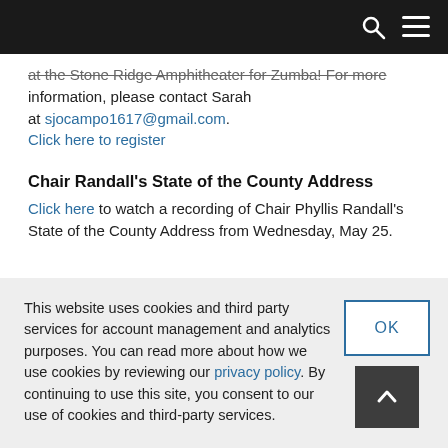[navigation bar with search and menu icons]
at the Stone Ridge Amphitheater for Zumba! For more information, please contact Sarah at sjocampo1617@gmail.com. Click here to register
Chair Randall's State of the County Address
Click here to watch a recording of Chair Phyllis Randall's State of the County Address from Wednesday, May 25.
This website uses cookies and third party services for account management and analytics purposes. You can read more about how we use cookies by reviewing our privacy policy. By continuing to use this site, you consent to our use of cookies and third-party services.